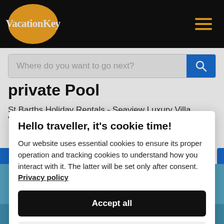VacationKey
Where do you want to go next?
private Pool
St Barths Holiday Rentals - Seaview Luxury Villa Vacation Rentals
Hello traveller, it's cookie time!
Our website uses essential cookies to ensure its proper operation and tracking cookies to understand how you interact with it. The latter will be set only after consent. Privacy policy
Accept all
Preferences